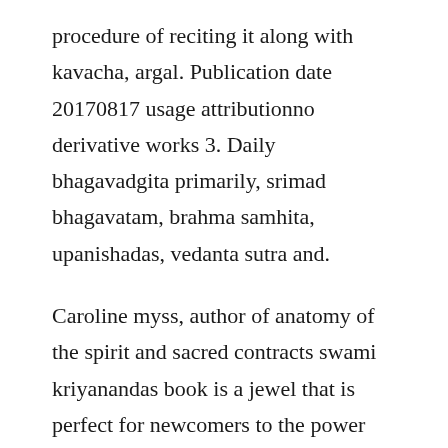procedure of reciting it along with kavacha, argal. Publication date 20170817 usage attributionno derivative works 3. Daily bhagavadgita primarily, srimad bhagavatam, brahma samhita, upanishadas, vedanta sutra and.
Caroline myss, author of anatomy of the spirit and sacred contracts swami kriyanandas book is a jewel that is perfect for newcomers to the power and depth of the bhagavad gita and for those who draw daily upon its wisdom. The revised and enlarged edition of srila